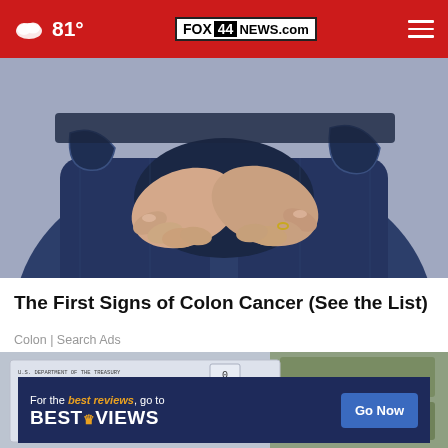81° FOX 44 NEWS.com
[Figure (photo): Close-up photo of a person in jeans with hands clasped in front of lower abdomen]
The First Signs of Colon Cancer (See the List)
Colon | Search Ads
[Figure (photo): Image of a US Treasury check with money in background, partially obscured by a close button and advertisement banner]
[Figure (infographic): BestReviews advertisement banner: 'For the best reviews, go to BESTREVIEWS' with a 'Go Now' button]